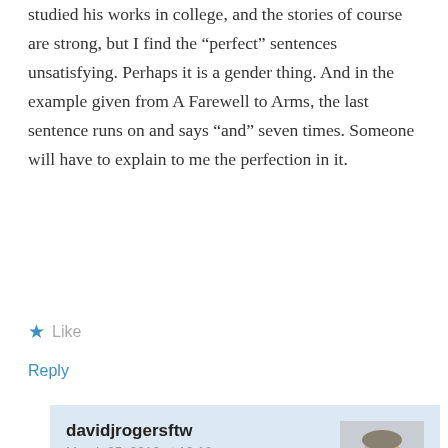studied his works in college, and the stories of course are strong, but I find the “perfect” sentences unsatisfying. Perhaps it is a gender thing. And in the example given from A Farewell to Arms, the last sentence runs on and says “and” seven times. Someone will have to explain to me the perfection in it.
★ Like
Reply
davidjrogersftw
March 25, 2016 at 10:10 pm
Hemingway is my favorite writer, and I’ve learned from him. My great uncle was his best friend in high school here in the Chicago area, and Hemingway once said my uncle was the better writer